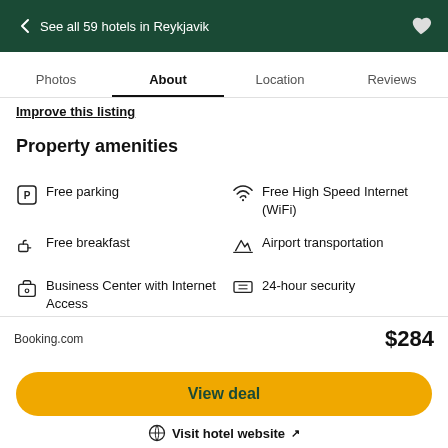← See all 59 hotels in Reykjavik
Photos  About  Location  Reviews
Improve this listing
Property amenities
Free parking
Free High Speed Internet (WiFi)
Free breakfast
Airport transportation
Business Center with Internet Access
24-hour security
Baggage storage
24-hour front desk
Booking.com  $284
View deal
⊕ Visit hotel website ↗